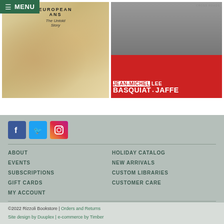[Figure (screenshot): Navigation menu bar with green background showing hamburger icon and MENU text, with two book covers below: left cover shows a decorative/ornamental book about Europeans: The Untold Story; right cover shows Jean-Michel Basquiat book by Lee Jaffe with red background and black and white portrait photo]
[Figure (screenshot): Social media icons for Facebook, Twitter, and Instagram]
ABOUT
EVENTS
SUBSCRIPTIONS
GIFT CARDS
MY ACCOUNT
HOLIDAY CATALOG
NEW ARRIVALS
CUSTOM LIBRARIES
CUSTOMER CARE
©2022 Rizzoli Bookstore | Orders and Returns
Site design by Duuplex | e-commerce by Timber